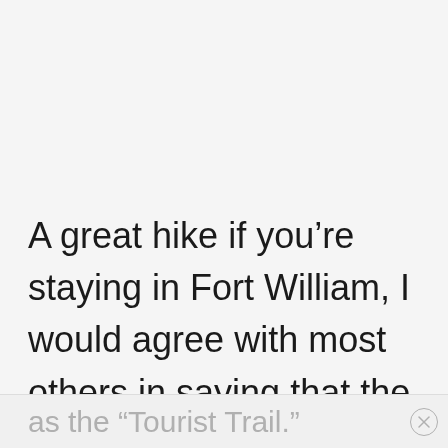A great hike if you’re staying in Fort William, I would agree with most others in saying that the most picturesque trail up this Munro is the main route, known as the “Tourist Trail.”